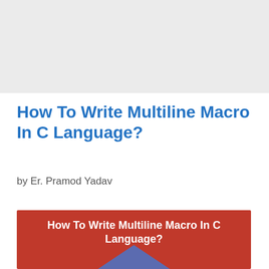How To Write Multiline Macro In C Language?
by Er. Pramod Yadav
[Figure (infographic): Red banner with white bold text reading 'How To Write Multiline Macro In C Language?' with a purple triangle/arrow shape at the bottom center]